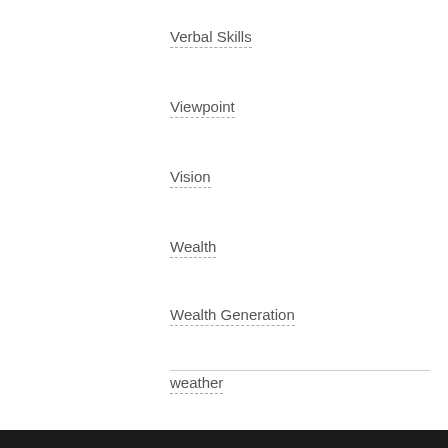Verbal Skills
Viewpoint
Vision
Wealth
Wealth Generation
weather
Will Power
Wisdom
Wishes
Zone